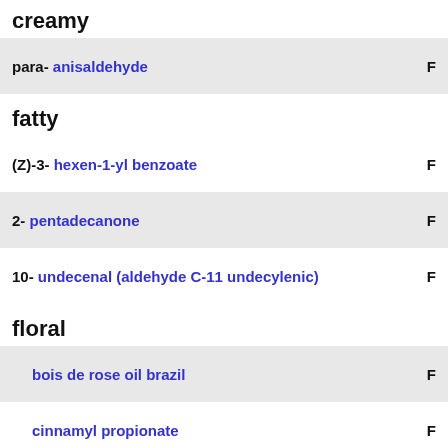creamy
para- anisaldehyde
fatty
(Z)-3- hexen-1-yl benzoate
2- pentadecanone
10- undecenal (aldehyde C-11 undecylenic)
floral
bois de rose oil brazil
cinnamyl propionate
citronellal
citronellol
(S)- citronellyl acetate